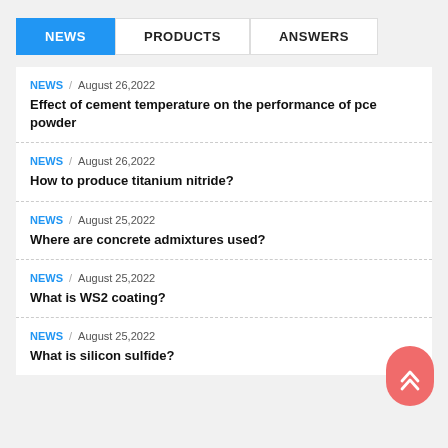NEWS | PRODUCTS | ANSWERS
NEWS / August 26,2022 — Effect of cement temperature on the performance of pce powder
NEWS / August 26,2022 — How to produce titanium nitride?
NEWS / August 25,2022 — Where are concrete admixtures used?
NEWS / August 25,2022 — What is WS2 coating?
NEWS / August 25,2022 — What is silicon sulfide?